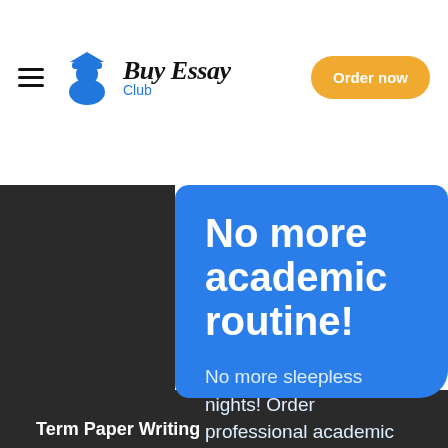Buy Essay Club — Order now
No more academic routine!
No more sleepless nights! Order professional academic writing service to beat all the challenges!
Place an order
Term Paper Writing